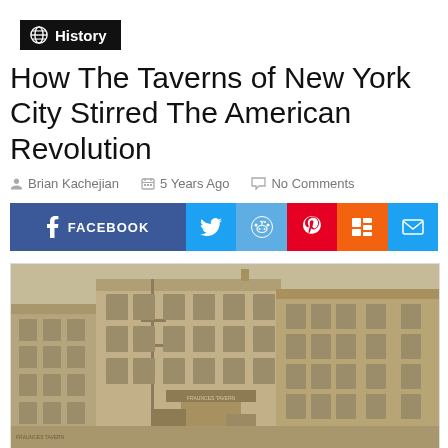History
How The Taverns of New York City Stirred The American Revolution
Brian Kachejian   5 Years Ago   No Comments
[Figure (infographic): Social sharing buttons: Facebook, Twitter, Reddit, Pinterest, Mix, Email]
[Figure (photo): Sepia-toned historical photograph of a multi-story brick building on a city street corner, showing Fraunces Tavern in New York City]